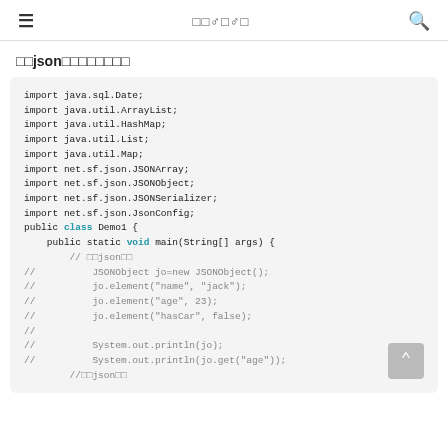≡  □□ ♂ □ ♂ □  🔍
□□json□□□□□□□□□
import java.sql.Date;
import java.util.ArrayList;
import java.util.HashMap;
import java.util.List;
import java.util.Map;
import net.sf.json.JSONArray;
import net.sf.json.JSONObject;
import net.sf.json.JSONSerializer;
import net.sf.json.JsonConfig;
public class Demo1 {
    public static void main(String[] args) {
        // □□json□□
//          JSONObject jo=new JSONObject();
//          jo.element("name", "jack");
//          jo.element("age", 23);
//          jo.element("hasCar", false);
//
//          System.out.println(jo);
//          System.out.println(jo.get("age"));
        //□□json□□